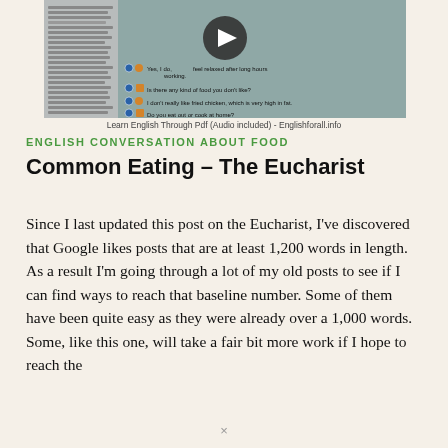[Figure (screenshot): Screenshot of a PDF viewer showing an English conversation about food lesson with a play button overlay, quiz-style questions with colored dot icons on a teal/gray background, and a sidebar list on the left.]
Learn English Through Pdf (Audio included) - Englishforall.info
ENGLISH CONVERSATION ABOUT FOOD
Common Eating – The Eucharist
Since I last updated this post on the Eucharist, I've discovered that Google likes posts that are at least 1,200 words in length. As a result I'm going through a lot of my old posts to see if I can find ways to reach that baseline number. Some of them have been quite easy as they were already over a 1,000 words. Some, like this one, will take a fair bit more work if I hope to reach the
×